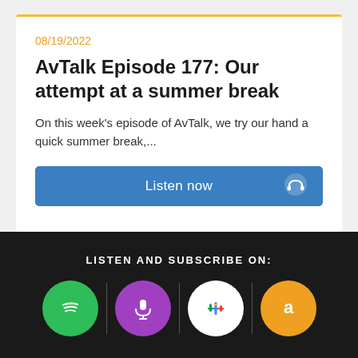08/19/2022
AvTalk Episode 177: Our attempt at a summer break
On this week's episode of AvTalk, we try our hand a quick summer break,...
Listen now
LISTEN AND SUBSCRIBE ON:
[Figure (logo): Spotify logo - green circle with white Spotify icon]
[Figure (logo): Apple Podcasts logo - purple circle with white microphone icon]
[Figure (logo): Google Podcasts logo - white circle with colorful bars icon]
[Figure (logo): Amazon logo - orange circle with white Amazon 'a' icon]